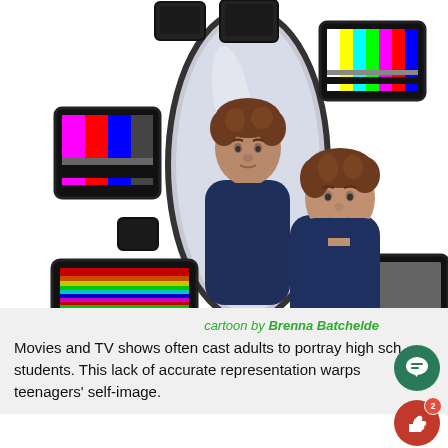[Figure (illustration): Cartoon illustration showing a teenager looking at their reflection in a large oval mirror. The reflection shows an adult version of themselves. Around the scene are multiple vintage TV sets in various states: some showing color test patterns (color bars), one showing static/interference, and some that are turned off/blank. The cartoon is drawn in a comic style with characters wearing dark navy turtleneck sweaters.]
cartoon by Brenna Batchelde
Movies and TV shows often cast adults to portray high school students. This lack of accurate representation warps teenagers' self-image.